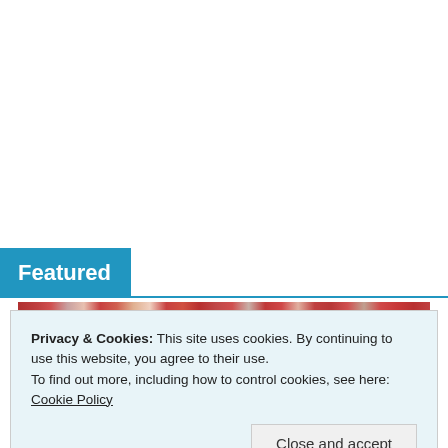Featured
[Figure (photo): A crowd of people in a sports venue with red seats visible in the background.]
Privacy & Cookies: This site uses cookies. By continuing to use this website, you agree to their use.
To find out more, including how to control cookies, see here: Cookie Policy
Close and accept